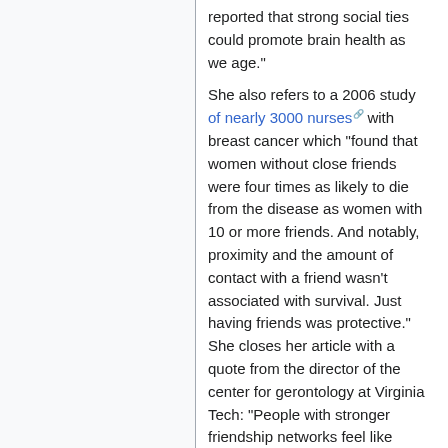reported that strong social ties could promote brain health as we age."
She also refers to a 2006 study of nearly 3000 nurses with breast cancer which “found that women without close friends were four times as likely to die from the disease as women with 10 or more friends. And notably, proximity and the amount of contact with a friend wasn’t associated with survival. Just having friends was protective.” She closes her article with a quote from the director of the center for gerontology at Virginia Tech: “People with stronger friendship networks feel like there is someone they can turn to. Friendship is an undervalued resource. The consistent message of these studies is that friends make your life better.”